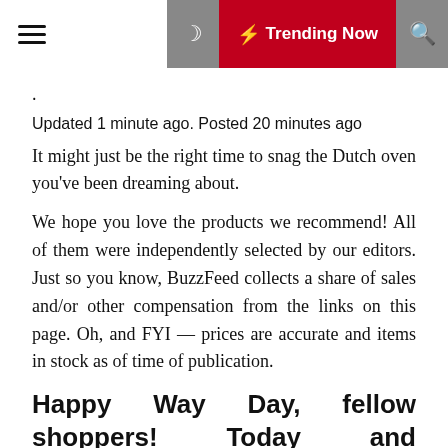☰  ☽  ⚡ Trending Now  🔍
.
Updated 1 minute ago. Posted 20 minutes ago
It might just be the right time to snag the Dutch oven you've been dreaming about.
We hope you love the products we recommend! All of them were independently selected by our editors. Just so you know, BuzzFeed collects a share of sales and/or other compensation from the links on this page. Oh, and FYI — prices are accurate and items in stock as of time of publication.
Happy Way Day, fellow shoppers! Today and tomorrow Wayfair is hosting an array of deals that I dare